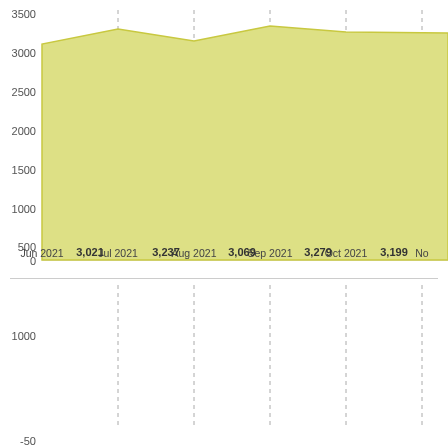[Figure (area-chart): ]
[Figure (area-chart): Partial second area chart visible at bottom of page]